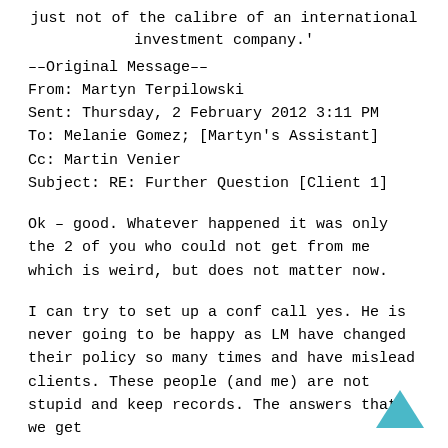just not of the calibre of an international investment company.'
––Original Message––
From: Martyn Terpilowski
Sent: Thursday, 2 February 2012 3:11 PM
To: Melanie Gomez; [Martyn's Assistant]
Cc: Martin Venier
Subject: RE: Further Question [Client 1]
Ok – good. Whatever happened it was only the 2 of you who could not get from me which is weird, but does not matter now.
I can try to set up a conf call yes. He is never going to be happy as LM have changed their policy so many times and have mislead clients. These people (and me) are not stupid and keep records. The answers that we get